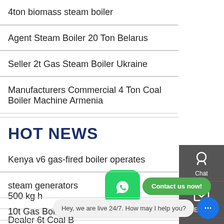4ton biomass steam boiler
Agent Steam Boiler 20 Ton Belarus
Seller 2t Gas Steam Boiler Ukraine
Manufacturers Commercial 4 Ton Coal Boiler Machine Armenia
HOT NEWS
Kenya v6 gas-fired boiler operates
steam generators 500 kg h B
10t Gas Boiler Cheap Turkmenistan
Dealer 6t Coal B
Commercial 6 Ton Oil Boiler Belarus